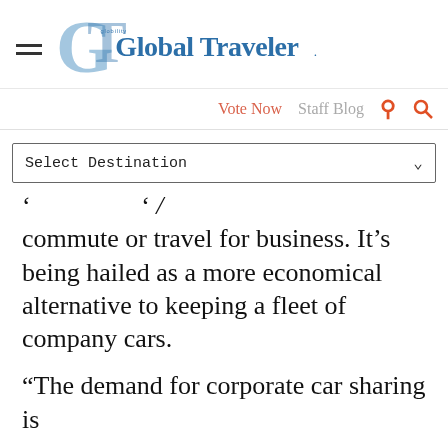Global Traveler
Vote Now   Staff Blog
Select Destination
commute or travel for business. It's being hailed as a more economical alternative to keeping a fleet of company cars.
“The demand for corporate car sharing is